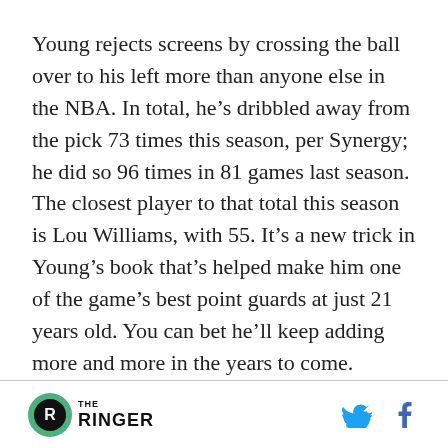Young rejects screens by crossing the ball over to his left more than anyone else in the NBA. In total, he’s dribbled away from the pick 73 times this season, per Synergy; he did so 96 times in 81 games last season. The closest player to that total this season is Lou Williams, with 55. It’s a new trick in Young’s book that’s helped make him one of the game’s best point guards at just 21 years old. You can bet he’ll keep adding more and more in the years to come.
15. Paul George, Clippers
The Ringer